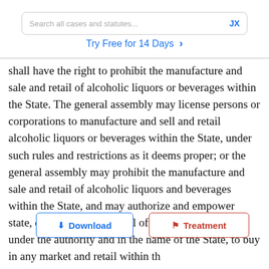Search all cases and statutes...  JX
Try Free for 14 Days >
shall have the right to prohibit the manufacture and sale and retail of alcoholic liquors or beverages within the State. The general assembly may license persons or corporations to manufacture and sell and retail alcoholic liquors or beverages within the State, under such rules and restrictions as it deems proper; or the general assembly may prohibit the manufacture and sale and retail of alcoholic liquors and beverages within the State, and may authorize and empower state, county, and municipal officers, all or either, under the authority and in the name of the State, to buy in any market and retail within the [Download] [Treatment] packages and quantities, under such rules and regulations, as it deems expedient: Provided. That no license shall be